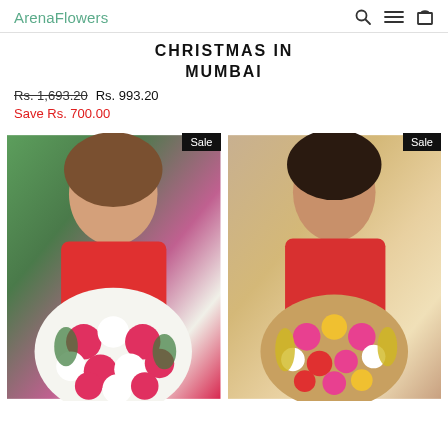ArenaFlowers
CHRISTMAS IN MUMBAI
Rs. 1,693.20  Rs. 993.20  Save Rs. 700.00
[Figure (photo): Woman in red top holding a large round bouquet of pink/red and white carnations with green foliage, Sale badge in top right corner]
[Figure (photo): Woman in red top holding a mixed bouquet of colorful roses (pink, yellow, red, white) with yellow foliage, Sale badge in top right corner]